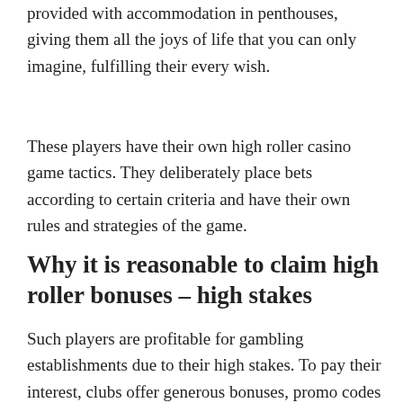provided with accommodation in penthouses, giving them all the joys of life that you can only imagine, fulfilling their every wish.
These players have their own high roller casino game tactics. They deliberately place bets according to certain criteria and have their own rules and strategies of the game.
Why it is reasonable to claim high roller bonuses – high stakes
Such players are profitable for gambling establishments due to their high stakes. To pay their interest, clubs offer generous bonuses, promo codes and other benefits such as expensive gifts for premium members and high-stakes players, VIP benefits. All this is done to attract high roller players...